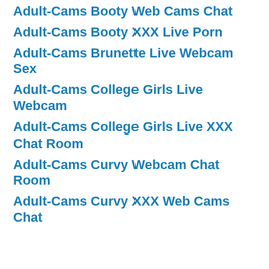Adult-Cams Booty Web Cams Chat
Adult-Cams Booty XXX Live Porn
Adult-Cams Brunette Live Webcam Sex
Adult-Cams College Girls Live Webcam
Adult-Cams College Girls Live XXX Chat Room
Adult-Cams Curvy Webcam Chat Room
Adult-Cams Curvy XXX Web Cams Chat